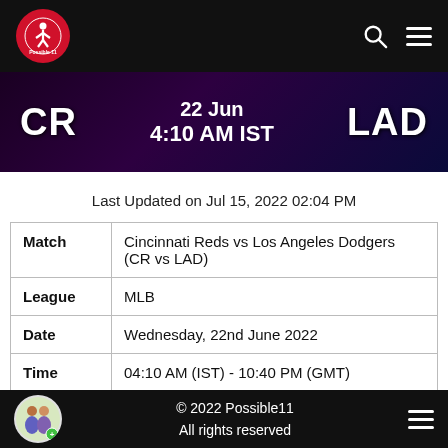Possible11 — CR vs LAD navigation header
CR  22 Jun  4:10 AM IST  LAD
Last Updated on Jul 15, 2022 02:04 PM
| Match | Cincinnati Reds vs Los Angeles Dodgers (CR vs LAD) |
| League | MLB |
| Date | Wednesday, 22nd June 2022 |
| Time | 04:10 AM (IST) - 10:40 PM (GMT) |
Venue : Great American Ball Park
© 2022 Possible11
All rights reserved